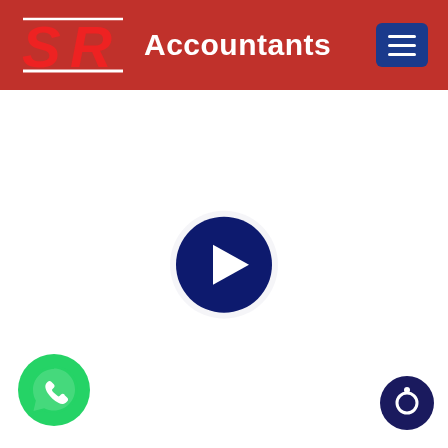SR Accountants
[Figure (screenshot): Dark navy blue circular play button icon in center of white area]
[Figure (logo): Green WhatsApp phone icon button in bottom-left corner]
[Figure (logo): Dark navy blue circular chat/messenger icon in bottom-right corner]